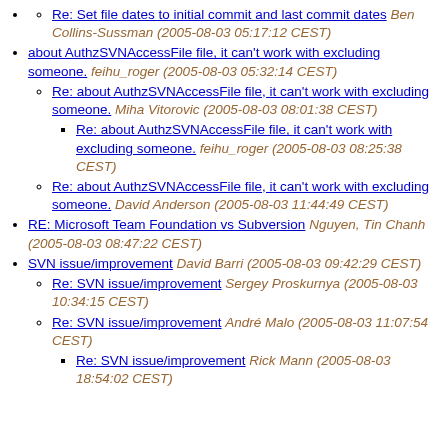Re: Set file dates to initial commit and last commit dates Ben Collins-Sussman (2005-08-03 05:17:12 CEST)
about AuthzSVNAccessFile file, it can't work with excluding someone. feihu_roger (2005-08-03 05:32:14 CEST)
Re: about AuthzSVNAccessFile file, it can't work with excluding someone. Miha Vitorovic (2005-08-03 08:01:38 CEST)
Re: about AuthzSVNAccessFile file, it can't work with excluding someone. feihu_roger (2005-08-03 08:25:38 CEST)
Re: about AuthzSVNAccessFile file, it can't work with excluding someone. David Anderson (2005-08-03 11:44:49 CEST)
RE: Microsoft Team Foundation vs Subversion Nguyen, Tin Chanh (2005-08-03 08:47:22 CEST)
SVN issue/improvement David Barri (2005-08-03 09:42:29 CEST)
Re: SVN issue/improvement Sergey Proskurnya (2005-08-03 10:34:15 CEST)
Re: SVN issue/improvement André Malo (2005-08-03 11:07:54 CEST)
Re: SVN issue/improvement Rick Mann (2005-08-03 18:54:02 CEST)